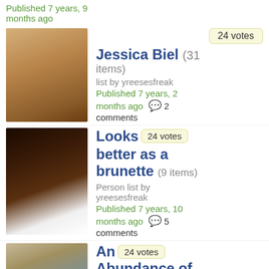Published 7 years, 9 months ago
[Figure (photo): Photo of Jessica Biel, blonde woman]
24 votes
Jessica Biel (31 items) list by yreesesfreak Published 7 years, 2 months ago 2 comments
[Figure (photo): Photo of woman with dark hair as brunette]
24 votes
Looks better as a brunette (9 items) Person list by yreesesfreak Published 7 years, 10 months ago 5 comments
[Figure (photo): Photo of blonde woman, partial]
24 votes
An Abundance of